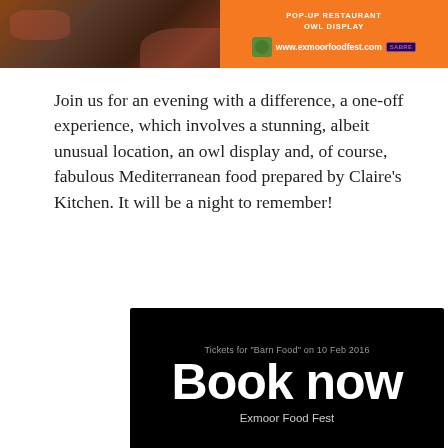[Figure (photo): Two photos side by side at top: left shows food preparation scene with dark tones, right shows orange Exmoor Food Fest advertisement with owl display text and website www.exmoorfoodfest.com]
Join us for an evening with a difference, a one-off experience, which involves a stunning, albeit unusual location, an owl display and, of course, fabulous Mediterranean food prepared by Claire's Kitchen. It will be a night to remember!
[Figure (infographic): Black banner with text: Tickets for "Barn Food" on 10 Feb 2016, Book now, Exmoor Food Fest]
Menu:
Canapés
Roasted red peppers and anchovy salad on roasted garlic